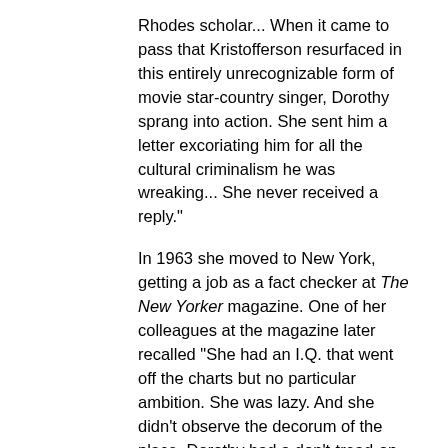Rhodes scholar... When it came to pass that Kristofferson resurfaced in this entirely unrecognizable form of movie star-country singer, Dorothy sprang into action. She sent him a letter excoriating him for all the cultural criminalism he was wreaking... She never received a reply."
In 1963 she moved to New York, getting a job as a fact checker at The New Yorker magazine. One of her colleagues at the magazine later recalled "She had an I.Q. that went off the charts but no particular ambition. She was lazy. And she didn't observe the decorum of the place. Dorothy had a don't-tread-on-me personality that wouldn't allow for the magazine's more difficult, self-conscious writers."
Art writer Calvin Tomkins, a staff writer during the time that Dorothy worked at The New Yorker, recalled his own experiences with her at the magazine: